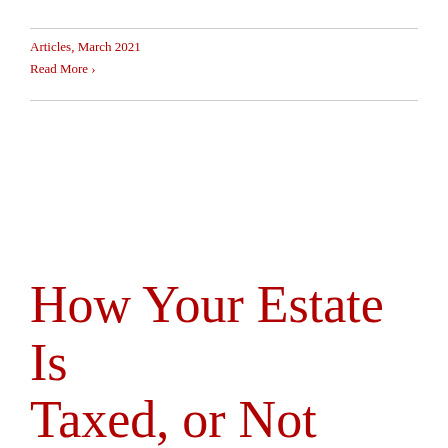Articles, March 2021
Read More ›
How Your Estate Is Taxed, or Not